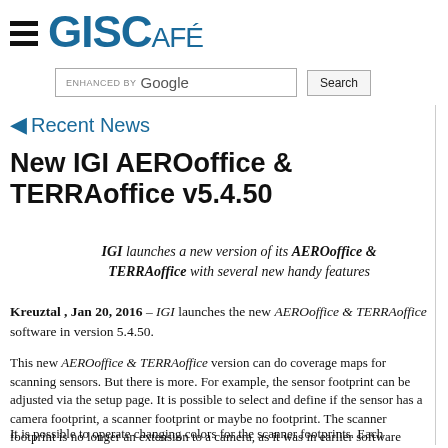GISCAFÉ
[Figure (logo): GISCafé logo with hamburger menu icon and Google enhanced search box]
Recent News
New IGI AEROoffice & TERRAoffice v5.4.50
IGI launches a new version of its AEROoffice & TERRAoffice with several new handy features
Kreuztal , Jan 20, 2016 – IGI launches the new AEROoffice & TERRAoffice software in version 5.4.50.
This new AEROoffice & TERRAoffice version can do coverage maps for scanning sensors. But there is more. For example, the sensor footprint can be adjusted via the setup page. It is possible to select and define if the sensor has a camera footprint, a scanner footprint or maybe no footprint. The scanner footprint is no longer an extension to a camera, as it was in earlier software versions. It is a distinct parameter of the scanner sensor in the setup.
It is possible to operate changing colors for the scanner footprints. Each scanline can have its color in order to